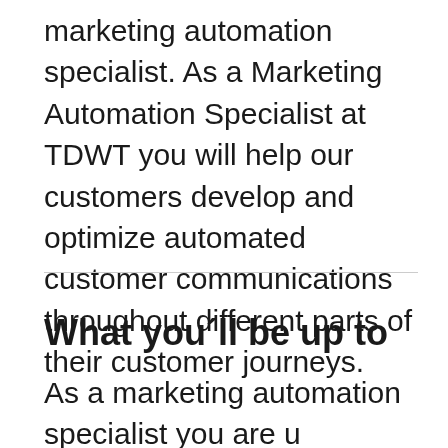marketing automation specialist. As a Marketing Automation Specialist at TDWT you will help our customers develop and optimize automated customer communications throughout different parts of their customer journeys.
What you´ll be up to
As a marketing automation specialist you are u [redacted] keting